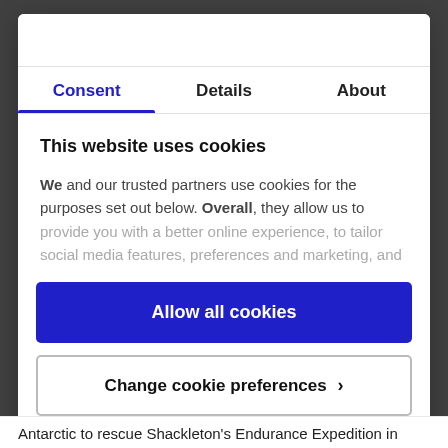Consent | Details | About
This website uses cookies
We and our trusted partners use cookies for the purposes set out below. Overall, they allow us to provide you with a better online experience, to tailor social media features, preferences and marketing, and
Allow all cookies
Change cookie preferences >
Powered by Cookiebot by Usercentrics
Antarctic to rescue Shackleton's Endurance Expedition in